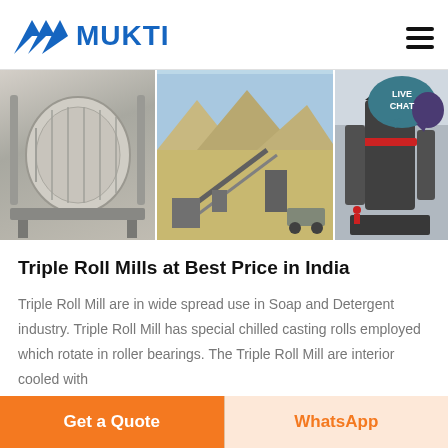[Figure (logo): Mukti company logo with blue triangular M symbol and blue MUKTI text]
[Figure (photo): Three industrial machinery photos side by side: left shows a large drum/filter machine, center shows an outdoor quarry/crushing plant, right shows a vertical mill machine in a factory]
Triple Roll Mills at Best Price in India
Triple Roll Mill are in wide spread use in Soap and Detergent industry. Triple Roll Mill has special chilled casting rolls employed which rotate in roller bearings. The Triple Roll Mill are interior cooled with
[Figure (other): Live Chat speech bubble button in teal/dark blue colors]
Get a Quote
WhatsApp